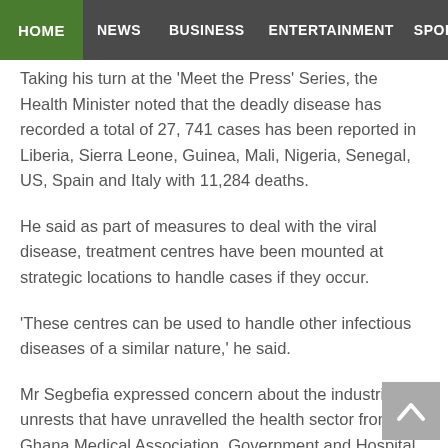HOME  NEWS  BUSINESS  ENTERTAINMENT  SPORT
Taking his turn at the 'Meet the Press' Series, the Health Minister noted that the deadly disease has recorded a total of 27, 741 cases has been reported in Liberia, Sierra Leone, Guinea, Mali, Nigeria, Senegal, US, Spain and Italy with 11,284 deaths.
He said as part of measures to deal with the viral disease, treatment centres have been mounted at strategic locations to handle cases if they occur.
'These centres can be used to handle other infectious diseases of a similar nature,' he said.
Mr Segbefia expressed concern about the industrial unrests that have unravelled the health sector from the Ghana Medical Association, Government and Hospital Pharmacists Associations, and Psychiatric Nurses, the fire outbreak at the National Central Medical Stores